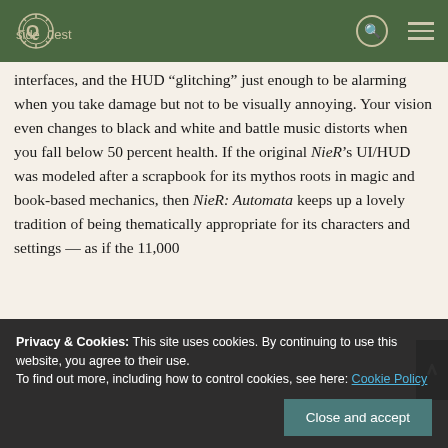SideQuest
interfaces, and the HUD “glitching” just enough to be alarming when you take damage but not to be visually annoying. Your vision even changes to black and white and battle music distorts when you fall below 50 percent health. If the original NieR’s UI/HUD was modeled after a scrapbook for its mythos roots in magic and book-based mechanics, then NieR: Automata keeps up a lovely tradition of being thematically appropriate for its characters and settings — as if the 11,000 points in the front end...
Privacy & Cookies: This site uses cookies. By continuing to use this website, you agree to their use.
To find out more, including how to control cookies, see here: Cookie Policy
Close and accept